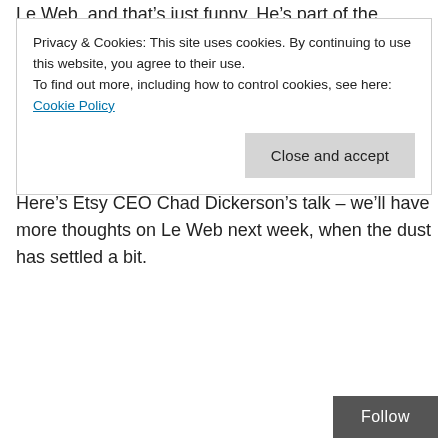Le Web, and that’s just funny. He’s part of the “Digital
Privacy & Cookies: This site uses cookies. By continuing to use this website, you agree to their use.
To find out more, including how to control cookies, see here: Cookie Policy

Close and accept
Here’s Etsy CEO Chad Dickerson’s talk – we’ll have more thoughts on Le Web next week, when the dust has settled a bit.
Follow